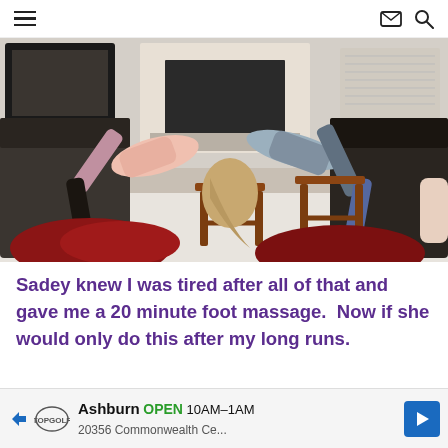≡  ✉ 🔍
[Figure (photo): Two people doing a plank/backbend pose on wooden stools in a living room with a fireplace and dark leather couches in the background. Red decorative pillows on the floor in the foreground.]
Sadey knew I was tired after all of that and gave me a 20 minute foot massage.  Now if she would only do this after my long runs.
Ashburn  OPEN  10AM–1AM  20356 Commonwealth Ce...